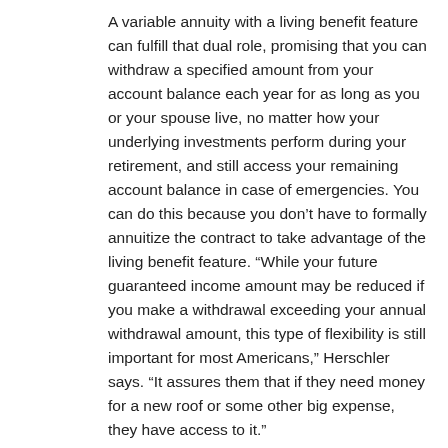A variable annuity with a living benefit feature can fulfill that dual role, promising that you can withdraw a specified amount from your account balance each year for as long as you or your spouse live, no matter how your underlying investments perform during your retirement, and still access your remaining account balance in case of emergencies. You can do this because you don't have to formally annuitize the contract to take advantage of the living benefit feature. “While your future guaranteed income amount may be reduced if you make a withdrawal exceeding your annual withdrawal amount, this type of flexibility is still important for most Americans,” Herschler says. “It assures them that if they need money for a new roof or some other big expense, they have access to it.”
Finally, you may find a mix of fixed and variable annuities the optimal recipe for locking in retirement income. You could, for example, buy a “period certain” fixed immediate annuity to cover the regular income you monthly…